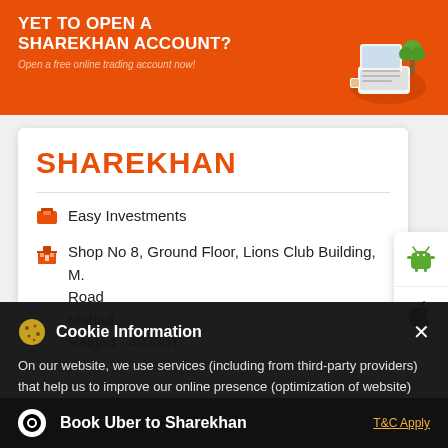[Figure (screenshot): Orange banner with text 'YET TO OPEN A SHAREKHAN ACCOUNT? Open a free online trading account now!' and an illustration of a laptop on a desk]
SHAREKHAN
Easy Investments
Shop No 8, Ground Floor, Lions Club Building, M. Road
Mahad
Raigad - 402301
[Figure (screenshot): Android app button (green Android robot icon)]
[Figure (screenshot): iOS Apple app button (Apple logo icon)]
Cookie Information
On our website, we use services (including from third-party providers) that help us to improve our online presence (optimization of website) and to display content that is geared to their interests. We need your consent before being able to use these services.
Book Uber to Sharekhan
T&C Apply